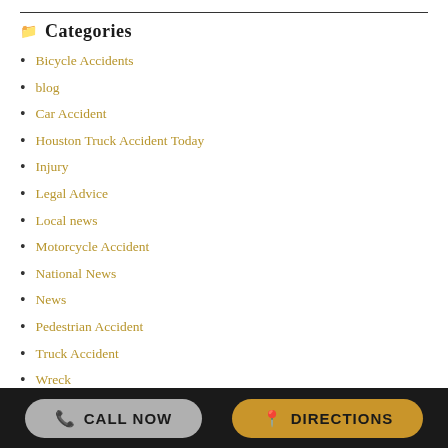Categories
Bicycle Accidents
blog
Car Accident
Houston Truck Accident Today
Injury
Legal Advice
Local news
Motorcycle Accident
National News
News
Pedestrian Accident
Truck Accident
Wreck
Wrongful Death
Archives
June 2021